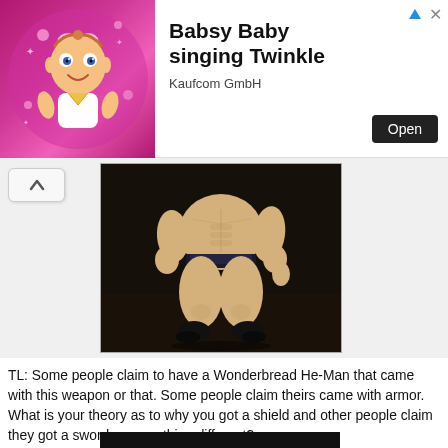[Figure (screenshot): Advertisement banner for 'Babsy Baby singing Twinkle' app by Kaufcom GmbH with animated baby image on pink background and Open button]
[Figure (photo): Photo of a muscular action figure (He-Man / Wonderbread He-Man) posed in a wide stance on a dark surface, from the torso down showing muscular legs and small black boots]
TL: Some people claim to have a Wonderbread He-Man that came with this weapon or that. Some people claim theirs came with armor. What is your theory as to why you got a shield and other people claim they got a sword or something different?
[Figure (photo): Bottom portion of another photo, mostly black background, partially visible]